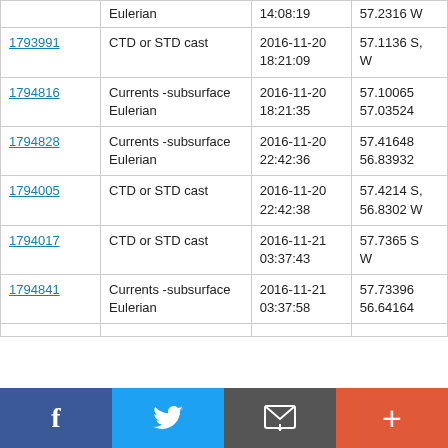|  | Type | Date/Time | Location |
| --- | --- | --- | --- |
|  | Eulerian | 14:08:19 | 57.2316 W |
| 1793991 | CTD or STD cast | 2016-11-20
18:21:09 | 57.1136 S,
W |
| 1794816 | Currents -subsurface Eulerian | 2016-11-20
18:21:35 | 57.10065
57.03524 |
| 1794828 | Currents -subsurface Eulerian | 2016-11-20
22:42:36 | 57.41648
56.83932 |
| 1794005 | CTD or STD cast | 2016-11-20
22:42:38 | 57.4214 S,
56.8302 W |
| 1794017 | CTD or STD cast | 2016-11-21
03:37:43 | 57.7365 S
W |
| 1794841 | Currents -subsurface Eulerian | 2016-11-21
03:37:58 | 57.73396
56.64164 |
Facebook | Twitter | Email | +